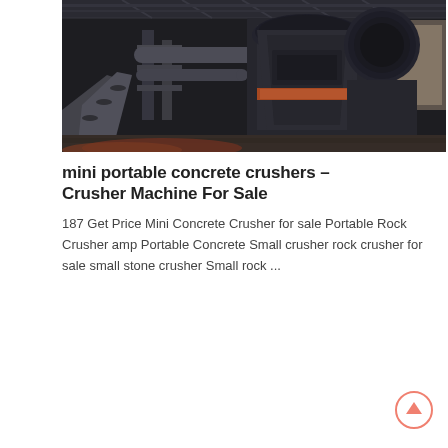[Figure (photo): Industrial crusher machine inside a large factory/warehouse building. Heavy machinery with conveyor belts, dark metal equipment, and large cylindrical crusher unit visible. Dark, industrial setting with metal roof structure.]
mini portable concrete crushers – Crusher Machine For Sale
187 Get Price Mini Concrete Crusher for sale Portable Rock Crusher amp Portable Concrete Small crusher rock crusher for sale small stone crusher Small rock ...